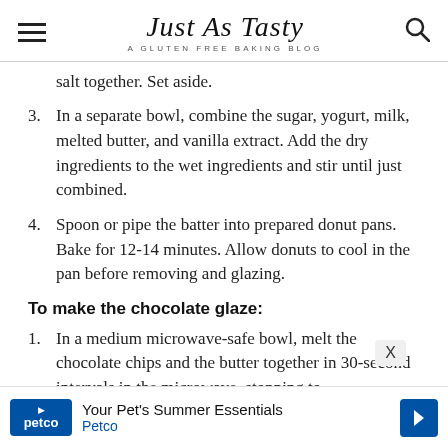Just As Tasty — A Gluten Free Baking Blog
salt together. Set aside.
3. In a separate bowl, combine the sugar, yogurt, milk, melted butter, and vanilla extract. Add the dry ingredients to the wet ingredients and stir until just combined.
4. Spoon or pipe the batter into prepared donut pans. Bake for 12-14 minutes. Allow donuts to cool in the pan before removing and glazing.
To make the chocolate glaze:
1. In a medium microwave-safe bowl, melt the chocolate chips and the butter together in 30-second intervals in the microwave, stopping to
[Figure (infographic): Petco advertisement banner: Your Pet's Summer Essentials, Petco]